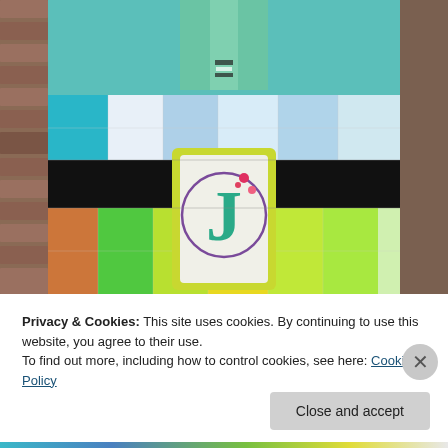[Figure (photo): Close-up photo of a colorful quilted tote bag with patchwork squares in teal, blue, black, green, and yellow. A monogram tag with the letter 'J' in floral style is hanging from the bag's handle. The bag is set against a brick wall background.]
Privacy & Cookies: This site uses cookies. By continuing to use this website, you agree to their use.
To find out more, including how to control cookies, see here: Cookie Policy
Close and accept